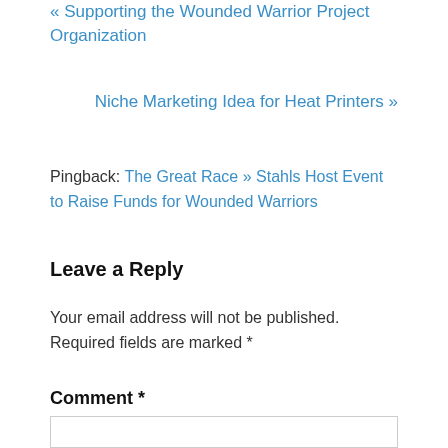« Supporting the Wounded Warrior Project Organization
Niche Marketing Idea for Heat Printers »
Pingback: The Great Race » Stahls Host Event to Raise Funds for Wounded Warriors
Leave a Reply
Your email address will not be published. Required fields are marked *
Comment *